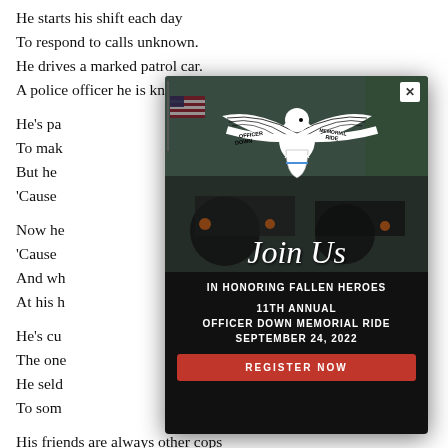He starts his shift each day
To respond to calls unknown.
He drives a marked patrol car.
A police officer he is known.

He's pa
To mak
But he
'Cause

Now he
'Cause
And wh
At his h

He's cu
The one
He seld
To som

His friends are always other cops
'Cause people just don't understand
That underneath his badge and gun,
He's just another man.
[Figure (infographic): Popup/modal overlay showing the Officer Down Memorial Ride advertisement. Contains an eagle logo with 'OFFICER DOWN MEMORIAL RIDE' banner text, a photo background of motorcycles and American flags, and text reading 'Join Us IN HONORING FALLEN HEROES 11TH ANNUAL OFFICER DOWN MEMORIAL RIDE SEPTEMBER 24, 2022' with a red 'REGISTER NOW' button. Has an X close button in top right corner.]